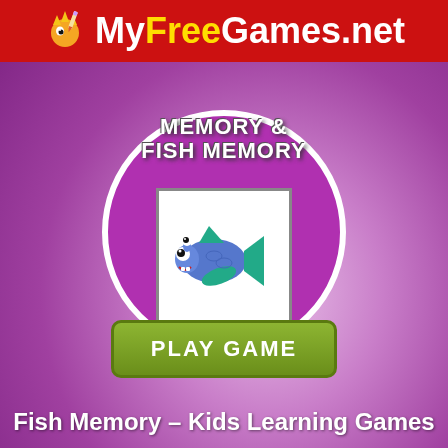MyFreeGames.net
[Figure (screenshot): Game card showing a circular purple background with white border, containing a white card with a cartoon fish image. Game title text 'MEMORY & FISH MEMORY' appears above. A green 'PLAY GAME' button is below the circle.]
Fish Memory - Kids Learning Games